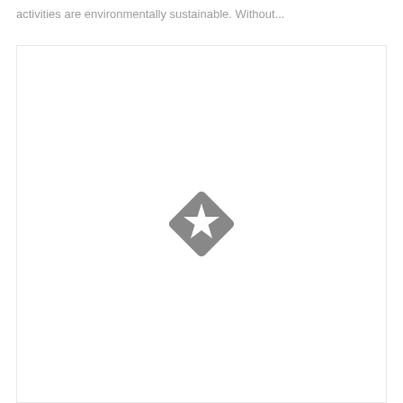activities are environmentally sustainable. Without...
[Figure (illustration): A grey rotated square (diamond shape) with a white five-pointed star in its center, centered within a white rectangular box with a light border.]